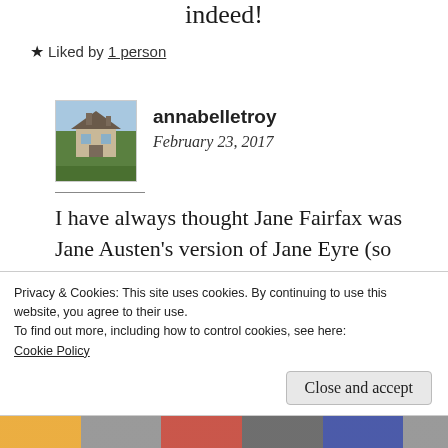indeed!
★ Liked by 1 person
[Figure (photo): Avatar thumbnail of a country house with garden and pond]
annabelletroy
February 23, 2017
I have always thought Jane Fairfax was Jane Austen's version of Jane Eyre (so
Privacy & Cookies: This site uses cookies. By continuing to use this website, you agree to their use.
To find out more, including how to control cookies, see here:
Cookie Policy
Close and accept